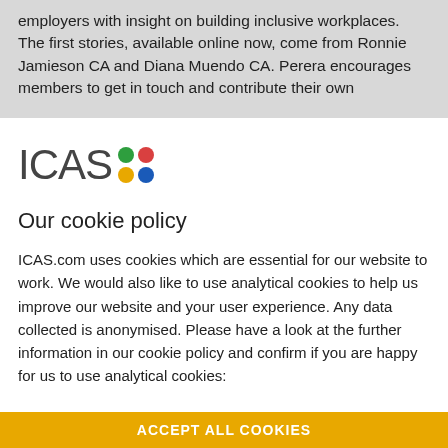employers with insight on building inclusive workplaces. The first stories, available online now, come from Ronnie Jamieson CA and Diana Muendo CA. Perera encourages members to get in touch and contribute their own stories which
[Figure (logo): ICAS logo with coloured dots (green, red, yellow, blue) arranged in a 2x2 grid next to the text 'ICAS']
Our cookie policy
ICAS.com uses cookies which are essential for our website to work. We would also like to use analytical cookies to help us improve our website and your user experience. Any data collected is anonymised. Please have a look at the further information in our cookie policy and confirm if you are happy for us to use analytical cookies:
ACCEPT ALL COOKIES